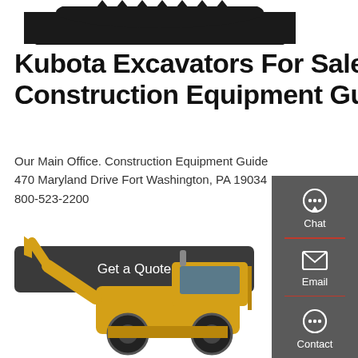[Figure (photo): Top portion of a dark-colored excavator bucket silhouette against white background]
Kubota Excavators For Sale : Construction Equipment Guide
Our Main Office. Construction Equipment Guide 470 Maryland Drive Fort Washington, PA 19034 800-523-2200
[Figure (other): Dark rounded rectangle button labeled 'Get a Quote']
[Figure (photo): Yellow construction wheel loader/excavator machine on white background]
[Figure (infographic): Dark gray side panel with Chat, Email, and Contact icons and labels with red dividers]